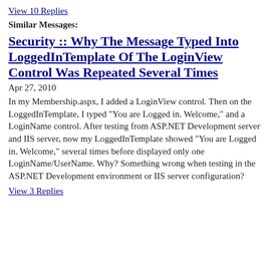View 10 Replies
Similar Messages:
Security :: Why The Message Typed Into LoggedInTemplate Of The LoginView Control Was Repeated Several Times
Apr 27, 2010
In my Membership.aspx, I added a LoginView control. Then on the LoggedInTemplate, I typed "You are Logged in. Welcome," and a LoginName control. After testing from ASP.NET Development server and IIS server, now my LoggedInTemplate showed "You are Logged in. Welcome," several times before displayed only one LoginName/UserName. Why? Something wrong when testing in the ASP.NET Development environment or IIS server configuration?
View 3 Replies